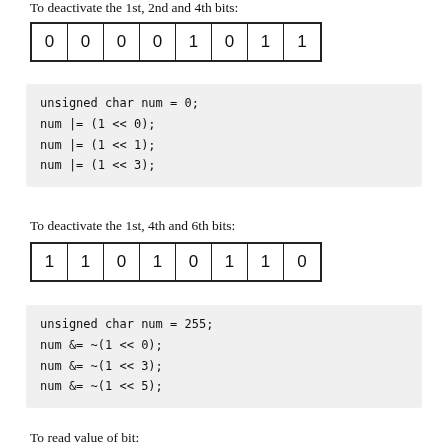To deactivate the 1st, 2nd and 4th bits:
[Figure (other): Bit grid showing 8 bits: 0 0 0 0 1 0 1 1]
unsigned char num = 0;
num |= (1 << 0);
num |= (1 << 1);
num |= (1 << 3);
To deactivate the 1st, 4th and 6th bits:
[Figure (other): Bit grid showing 8 bits: 1 1 0 1 0 1 1 0]
unsigned char num = 255;
num &= ~(1 << 0);
num &= ~(1 << 3);
num &= ~(1 << 5);
To read value of bit: